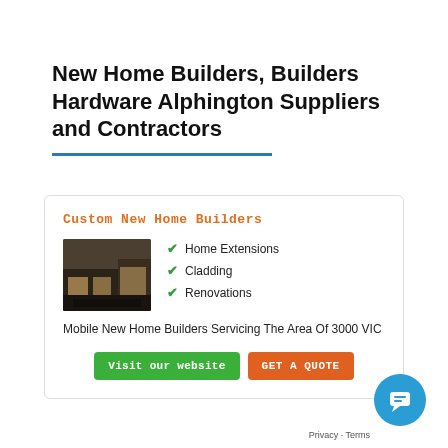New Home Builders, Builders Hardware Alphington Suppliers and Contractors
Custom New Home Builders
Home Extensions
Cladding
Renovations
Mobile New Home Builders Servicing The Area Of 3000 VIC
Visit our website
GET A QUOTE